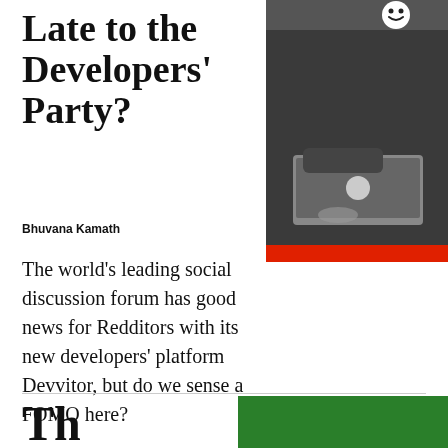Late to the Developers' Party?
[Figure (photo): Black and white photo of a person wearing a hoodie and a smiley face emoji mask, sitting at a laptop. The photo has a red rectangular overlay/background element on the right side.]
Bhuvana Kamath
The world's leading social discussion forum has good news for Redditors with its new developers' platform Devvitor, but do we sense a FOMO here?
Th…